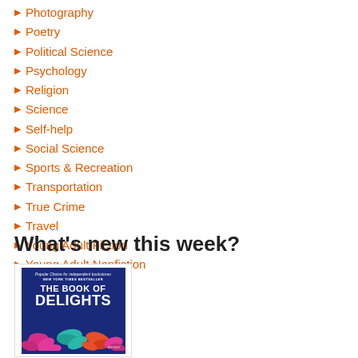Photography
Poetry
Political Science
Psychology
Religion
Science
Self-help
Social Science
Sports & Recreation
Transportation
True Crime
Travel
Young Adult Fiction
Young Adult Nonfiction
What's new this week?
[Figure (illustration): Book cover of 'The Book of Delights' — dark navy blue background with colorful leaf/floral illustration in pink, teal/green, and orange; white bold title text reading THE BOOK OF DELIGHTS; small italic text at top and NYT Bestseller banner]